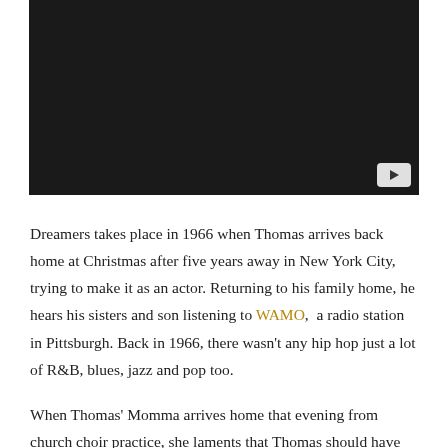[Figure (screenshot): Dark video thumbnail with a YouTube play button in the bottom-right corner.]
Dreamers takes place in 1966 when Thomas arrives back home at Christmas after five years away in New York City, trying to make it as an actor. Returning to his family home, he hears his sisters and son listening to WAMO, a radio station in Pittsburgh. Back in 1966, there wasn't any hip hop just a lot of R&B, blues, jazz and pop too.
When Thomas' Momma arrives home that evening from church choir practice, she laments that Thomas should have been there with her to sing "Amazing Grace". Here's a powerful version of that traditional spiritual. Amazing Grace by the Soweto Gospel Choir,